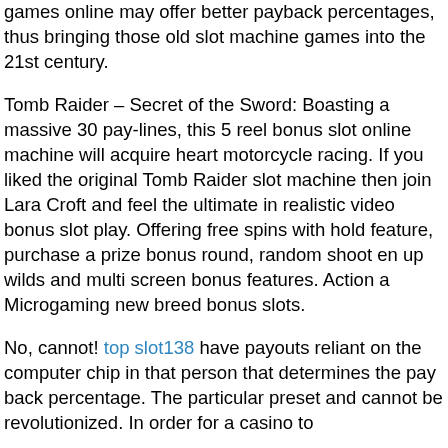games online may offer better payback percentages, thus bringing those old slot machine games into the 21st century.
Tomb Raider – Secret of the Sword: Boasting a massive 30 pay-lines, this 5 reel bonus slot online machine will acquire heart motorcycle racing. If you liked the original Tomb Raider slot machine then join Lara Croft and feel the ultimate in realistic video bonus slot play. Offering free spins with hold feature, purchase a prize bonus round, random shoot en up wilds and multi screen bonus features. Action a Microgaming new breed bonus slots.
No, cannot! top slot138 have payouts reliant on the computer chip in that person that determines the pay back percentage. The particular preset and cannot be revolutionized. In order for a casino to